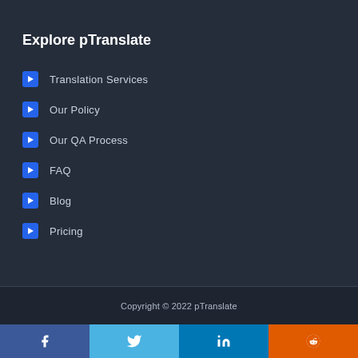Explore pTranslate
Translation Services
Our Policy
Our QA Process
FAQ
Blog
Pricing
Copyright © 2022 pTranslate